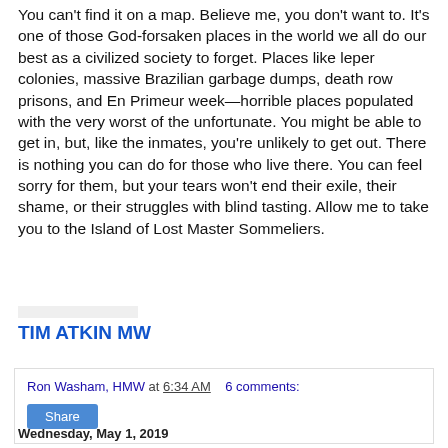You can't find it on a map. Believe me, you don't want to. It's one of those God-forsaken places in the world we all do our best as a civilized society to forget. Places like leper colonies, massive Brazilian garbage dumps, death row prisons, and En Primeur week—horrible places populated with the very worst of the unfortunate. You might be able to get in, but, like the inmates, you're unlikely to get out. There is nothing you can do for those who live there. You can feel sorry for them, but your tears won't end their exile, their shame, or their struggles with blind tasting. Allow me to take you to the Island of Lost Master Sommeliers.
TIM ATKIN MW
Ron Washam, HMW at 6:34 AM   6 comments:
Share
Wednesday, May 1, 2019